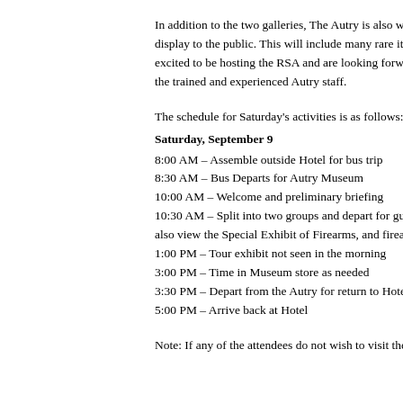In addition to the two galleries, The Autry is also wo display to the public. This will include many rare ite excited to be hosting the RSA and are looking forwa the trained and experienced Autry staff.
The schedule for Saturday's activities is as follows:
Saturday, September 9
8:00 AM – Assemble outside Hotel for bus trip
8:30 AM – Bus Departs for Autry Museum
10:00 AM – Welcome and preliminary briefing
10:30 AM – Split into two groups and depart for gui also view the Special Exhibit of Firearms, and firear
1:00 PM – Tour exhibit not seen in the morning
3:00 PM – Time in Museum store as needed
3:30 PM – Depart from the Autry for return to Hotel
5:00 PM – Arrive back at Hotel
Note: If any of the attendees do not wish to visit the